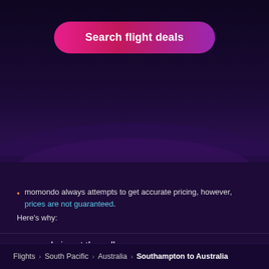[Figure (screenshot): Search flight deals button with pink-to-purple gradient on dark purple background]
momondo always attempts to get accurate pricing, however, prices are not guaranteed.
Here's why:
momondo is not the seller
We aggregate tonnes of data for you
Why aren't prices 100% accurate?
Flights > South Pacific > Australia > Southampton to Australia